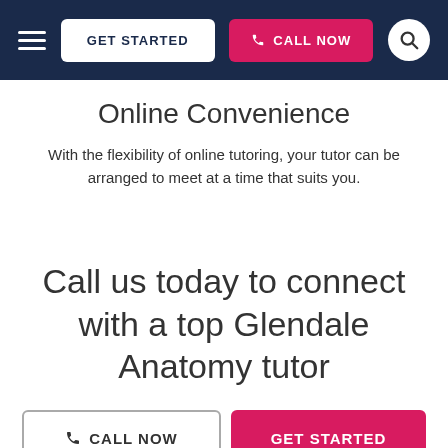GET STARTED | CALL NOW
Online Convenience
With the flexibility of online tutoring, your tutor can be arranged to meet at a time that suits you.
Call us today to connect with a top Glendale Anatomy tutor
CALL NOW | GET STARTED